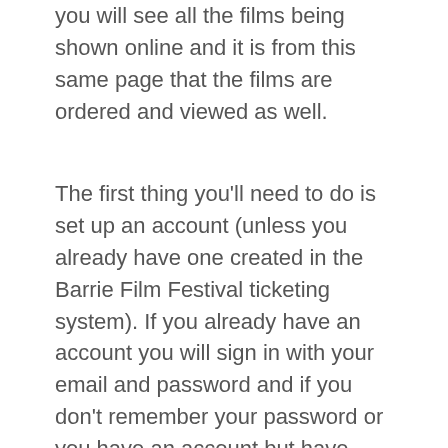you will see all the films being shown online and it is from this same page that the films are ordered and viewed as well.
The first thing you'll need to do is set up an account (unless you already have one created in the Barrie Film Festival ticketing system). If you already have an account you will sign in with your email and password and if you don't remember your password or you have an account but have never used it online (only at box office), there is an option to click to reset it.